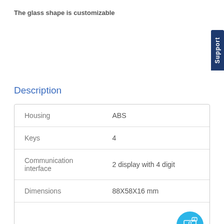The glass shape is customizable
Description
| Property | Value |
| --- | --- |
| Housing | ABS |
| Keys | 4 |
| Communication interface | 2 display with 4 digit |
| Dimensions | 88X58X16 mm |